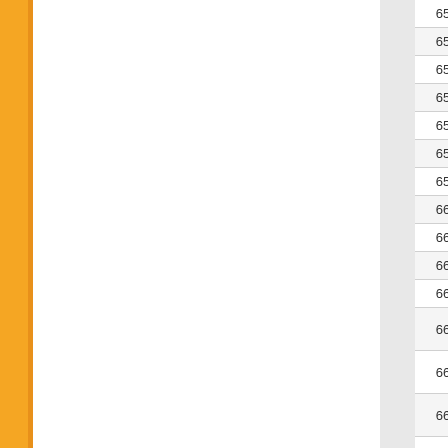| No. | Date | Description |
| --- | --- | --- |
| 653. | 15/01/2017 | DEGREE M... |
| 654. | 15/01/2017 | DEGREE M... |
| 655. | 15/01/2017 | DEGREE M... |
| 656. | 15/01/2017 | DEGREE M... |
| 657. | 13/01/2017 | DEGREE M... |
| 658. | 13/01/2017 | DEGREE M... |
| 659. | 13/01/2017 | DEGREE M... |
| 660. | 13/01/2017 | DEGREE M... |
| 661. | 12/01/2017 | DEGREE M... |
| 662. | 12/01/2017 | DEGREE M... |
| 663. | 12/01/2017 | DEGREE M... |
| 664. | 06/01/2017 | REVISED-C... SEMESTER... |
| 665. | 28/12/2016 | Special Exa... 31.12.2016 |
| 666. | 26/12/2016 | CHANGE of... (December-2... |
| 667. | 24/12/2016 | ADDITION:... SEMESTER... |